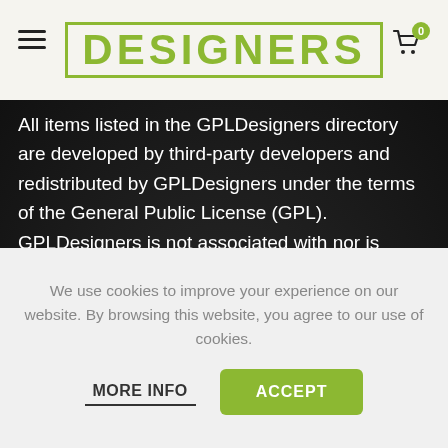DESIGNERS
All items listed in the GPLDesigners directory are developed by third-party developers and redistributed by GPLDesigners under the terms of the General Public License (GPL). GPLDesigners is not associated with nor is endorsed by the developers of any products featured on this website.
QUICK LINK
We use cookies to improve your experience on our website. By browsing this website, you agree to our use of cookies.
MORE INFO   ACCEPT